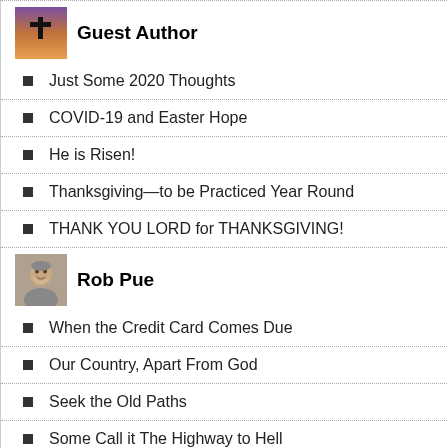Guest Author
Just Some 2020 Thoughts
COVID-19 and Easter Hope
He is Risen!
Thanksgiving—to be Practiced Year Round
THANK YOU LORD for THANKSGIVING!
Rob Pue
When the Credit Card Comes Due
Our Country, Apart From God
Seek the Old Paths
Some Call it The Highway to Hell